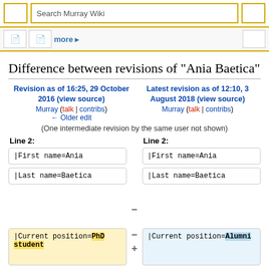Search Murray Wiki
Difference between revisions of "Ania Baetica"
Revision as of 16:25, 29 October 2016 (view source)
Murray (talk | contribs)
← Older edit
Latest revision as of 12:10, 3 August 2018 (view source)
Murray (talk | contribs)
(One intermediate revision by the same user not shown)
Line 2:
Line 2:
|First name=Ania
|First name=Ania
|Last name=Baetica
|Last name=Baetica
|Current position=PhD student
|Current position=Alumni